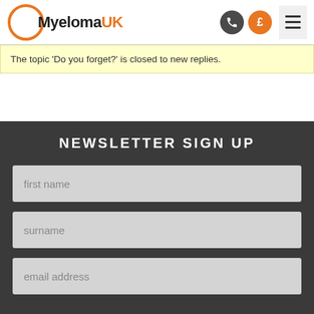[Figure (logo): MyelomaUK logo with orange circle ring and bold text]
The topic ‘Do you forget?’ is closed to new replies.
NEWSLETTER SIGN UP
first name
surname
email address